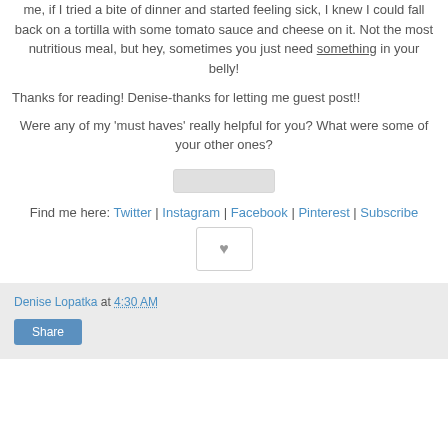me, if I tried a bite of dinner and started feeling sick, I knew I could fall back on a tortilla with some tomato sauce and cheese on it. Not the most nutritious meal, but hey, sometimes you just need something in your belly!
Thanks for reading! Denise-thanks for letting me guest post!!
Were any of my 'must haves' really helpful for you? What were some of your other ones?
[Figure (other): Blurred/redacted button element]
Find me here: Twitter | Instagram | Facebook | Pinterest | Subscribe
[Figure (other): Like/heart button widget]
Denise Lopatka at 4:30 AM
Share